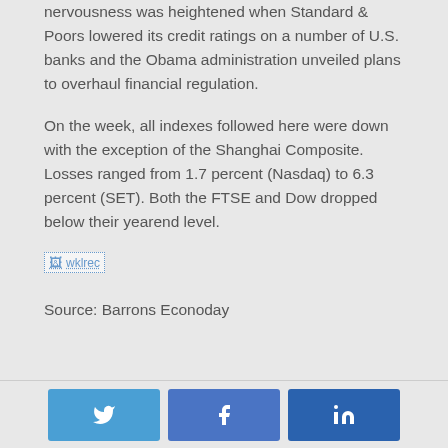nervousness was heightened when Standard & Poors lowered its credit ratings on a number of U.S. banks and the Obama administration unveiled plans to overhaul financial regulation.
On the week, all indexes followed here were down with the exception of the Shanghai Composite. Losses ranged from 1.7 percent (Nasdaq) to 6.3 percent (SET). Both the FTSE and Dow dropped below their yearend level.
[Figure (other): Broken image placeholder labeled 'wklrec']
Source: Barrons Econoday
Social share buttons: Twitter, Facebook, LinkedIn